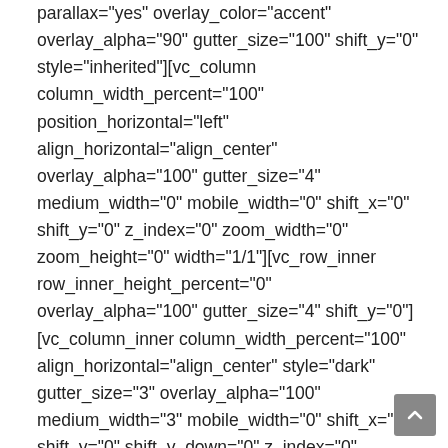parallax="yes" overlay_color="accent" overlay_alpha="90" gutter_size="100" shift_y="0" style="inherited"][vc_column column_width_percent="100" position_horizontal="left" align_horizontal="align_center" overlay_alpha="100" gutter_size="4" medium_width="0" mobile_width="0" shift_x="0" shift_y="0" z_index="0" zoom_width="0" zoom_height="0" width="1/1"][vc_row_inner row_inner_height_percent="0" overlay_alpha="100" gutter_size="4" shift_y="0"][vc_column_inner column_width_percent="100" align_horizontal="align_center" style="dark" gutter_size="3" overlay_alpha="100" medium_width="3" mobile_width="0" shift_x="0" shift_y="0" shift_y_down="0" z_index="0" zoom_width="0" zoom_height="0" width="1/3"][vc_icon icon="fa fa-desktop2" size="fa-3x" text_size="h4" text_font="font-762222" text_space="fontspace-111500"